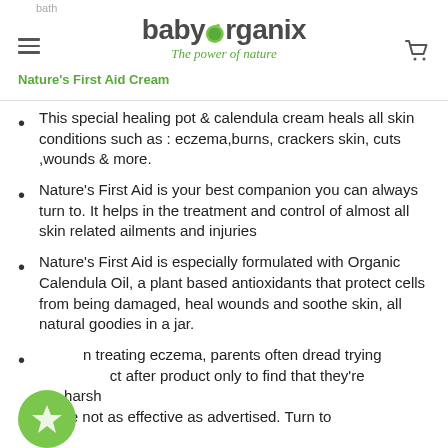baby organix - The power of nature | Nature's First Aid Cream
This special healing pot & calendula cream heals all skin conditions such as : eczema,burns, crackers skin, cuts ,wounds & more.
Nature's First Aid is your best companion you can always turn to. It helps in the treatment and control of almost all skin related ailments and injuries
Nature's First Aid is especially formulated with Organic Calendula Oil, a plant based antioxidants that protect cells from being damaged, heal wounds and soothe skin, all natural goodies in a jar.
In treating eczema, parents often dread trying product after product only to find that they're too harsh or are not as effective as advertised. Turn to